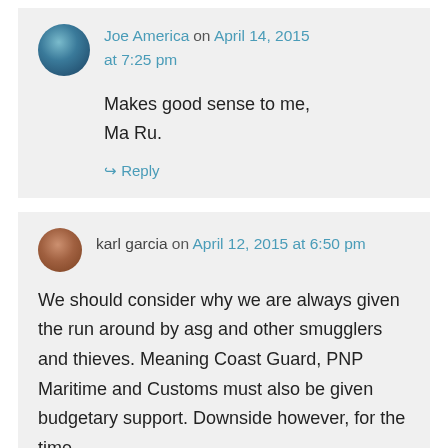Joe America on April 14, 2015 at 7:25 pm
Makes good sense to me, Ma Ru.
↳ Reply
karl garcia on April 12, 2015 at 6:50 pm
We should consider why we are always given the run around by asg and other smugglers and thieves. Meaning Coast Guard, PNP Maritime and Customs must also be given budgetary support. Downside however, for the time…